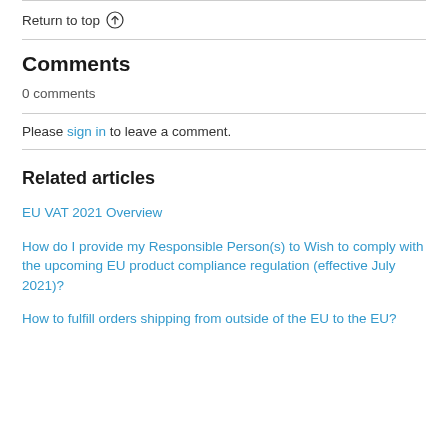Return to top ↑
Comments
0 comments
Please sign in to leave a comment.
Related articles
EU VAT 2021 Overview
How do I provide my Responsible Person(s) to Wish to comply with the upcoming EU product compliance regulation (effective July 2021)?
How to fulfill orders shipping from outside of the EU to the EU?